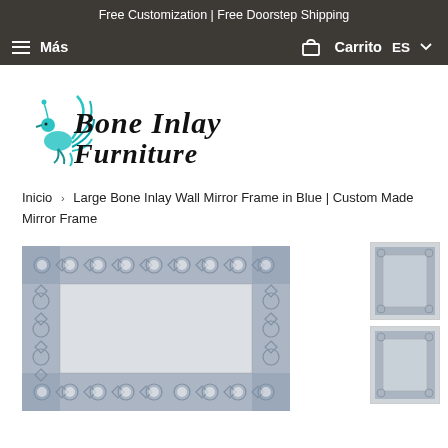Free Customization | Free Doorstep Shipping
≡ Más   🛒 Carrito  ES
[Figure (logo): Bone Inlay Furniture logo with peacock illustration and decorative script text]
Inicio › Large Bone Inlay Wall Mirror Frame in Blue | Custom Made Mirror Frame
[Figure (photo): Main product photo: Large bone inlay wall mirror frame with blue geometric pattern, partially visible]
[Figure (photo): Thumbnail: Bone inlay mirror frame, full view on light background]
[Figure (photo): Thumbnail: Second variant of bone inlay mirror frame, partially visible]